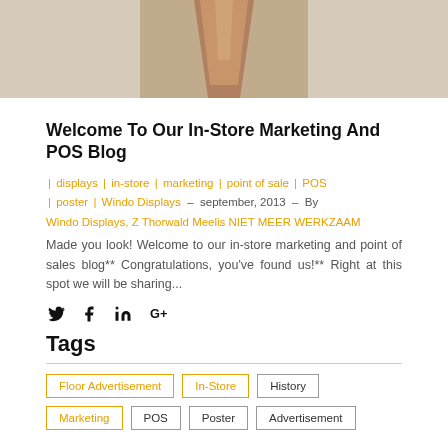[Figure (photo): Top portion of a photo showing a beige/tan cone shape against a light background, cropped at the top of the page]
Welcome To Our In-Store Marketing And POS Blog
| displays | in-store | marketing | point of sale | POS | poster | Windo Displays – september, 2013 – By Windo Displays, Z Thorwald Meelis NIET MEER WERKZAAM
Made you look! Welcome to our in-store marketing and point of sales blog** Congratulations, you've found us!** Right at this spot we will be sharing...
[Figure (infographic): Social media share icons: Twitter bird, Facebook f, LinkedIn in, Google+]
Tags
Floor Advertisement | In-Store | History | Marketing | POS | Poster | Advertisement